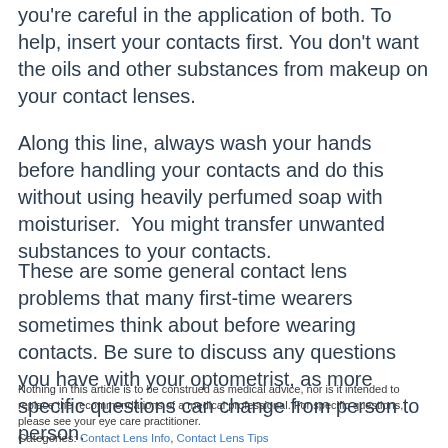you're careful in the application of both. To help, insert your contacts first. You don't want the oils and other substances from makeup on your contact lenses.
Along this line, always wash your hands before handling your contacts and do this without using heavily perfumed soap with moisturiser.  You might transfer unwanted substances to your contacts.
These are some general contact lens problems that many first-time wearers sometimes think about before wearing contacts. Be sure to discuss any questions you have with your optometrist, as more specific questions can change from person to person.
Nothing in this article is to be construed as medical advice, nor is it intended to replace the recommendations of a medical professional. For specific questions, please see your eye care practitioner.
Categories: Contact Lens Info, Contact Lens Tips